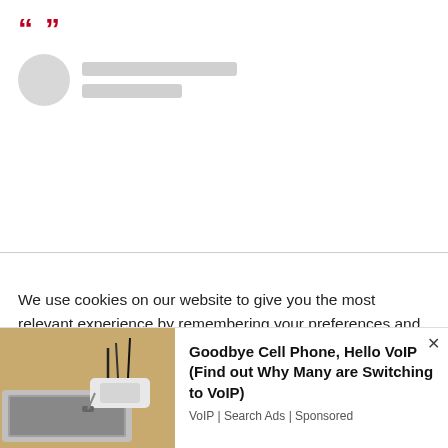[Figure (screenshot): Quotation marks in dark red followed by a placeholder avatar circle and two gray placeholder lines, indicating a loading or blurred testimonial/review widget]
We use cookies on our website to give you the most relevant experience by remembering your preferences and repeat visits. By clicking "Accept All", you consent to the use of ALL the cookies. However, you may visit "Cookie Settings" to provide a controlled consent.
[Figure (photo): Advertisement banner showing a photo of a laptop and VoIP adapter on a wooden surface, with text: Goodbye Cell Phone, Hello VoIP (Find out Why Many are Switching to VoIP). VoIP | Search Ads | Sponsored]